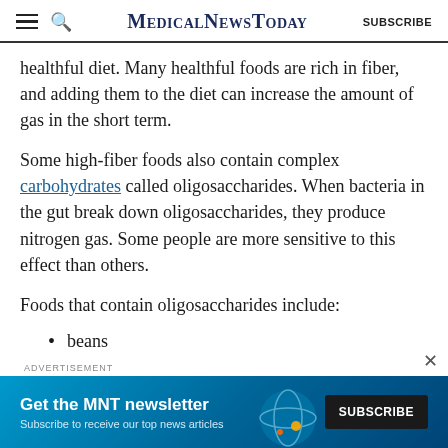MedicalNewsToday SUBSCRIBE
healthful diet. Many healthful foods are rich in fiber, and adding them to the diet can increase the amount of gas in the short term.
Some high-fiber foods also contain complex carbohydrates called oligosaccharides. When bacteria in the gut break down oligosaccharides, they produce nitrogen gas. Some people are more sensitive to this effect than others.
Foods that contain oligosaccharides include:
beans
[Figure (screenshot): Advertisement banner for MNT newsletter with text 'Get the MNT newsletter' and 'Subscribe to receive our top news articles' with a SUBSCRIBE button]